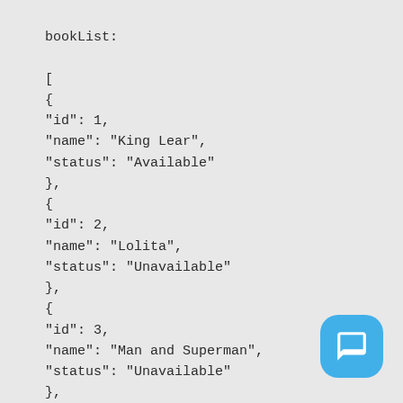bookList:

[
{
"id": 1,
"name": "King Lear",
"status": "Available"
},
{
"id": 2,
"name": "Lolita",
"status": "Unavailable"
},
{
"id": 3,
"name": "Man and Superman",
"status": "Unavailable"
},
{
"id": 4,
"name": "My experiments with Truth",
"status": "Available"
},
{
[Figure (other): Blue rounded square chat button icon in bottom right corner]